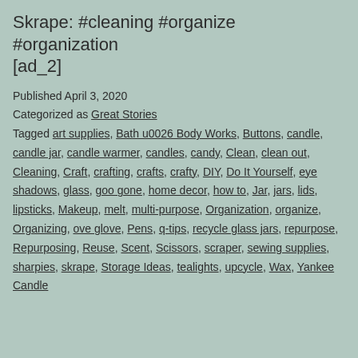Skrape: #cleaning #organize #organization [ad_2]
Published April 3, 2020
Categorized as Great Stories
Tagged art supplies, Bath u0026 Body Works, Buttons, candle, candle jar, candle warmer, candles, candy, Clean, clean out, Cleaning, Craft, crafting, crafts, crafty, DIY, Do It Yourself, eye shadows, glass, goo gone, home decor, how to, Jar, jars, lids, lipsticks, Makeup, melt, multi-purpose, Organization, organize, Organizing, ove glove, Pens, q-tips, recycle glass jars, repurpose, Repurposing, Reuse, Scent, Scissors, scraper, sewing supplies, sharpies, skrape, Storage Ideas, tealights, upcycle, Wax, Yankee Candle